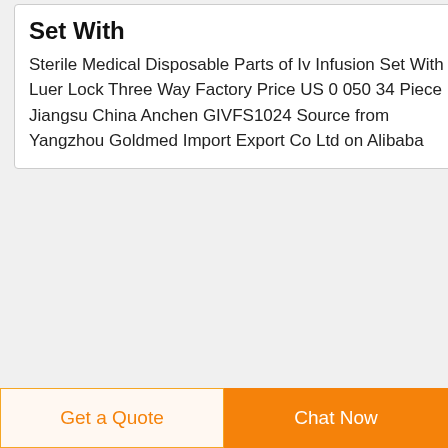Set With
Sterile Medical Disposable Parts of Iv Infusion Set With Luer Lock Three Way Factory Price US 0 050 34 Piece Jiangsu China Anchen GIVFS1024 Source from Yangzhou Goldmed Import Export Co Ltd on Alibaba
[Figure (screenshot): Small broken image icon for IV Infusion Set product listing]
IV Infusion SetIV Infusion Set with luer lock
Leading manufacturer and exporter of IV Infusion Set with
Get a Quote
Chat Now